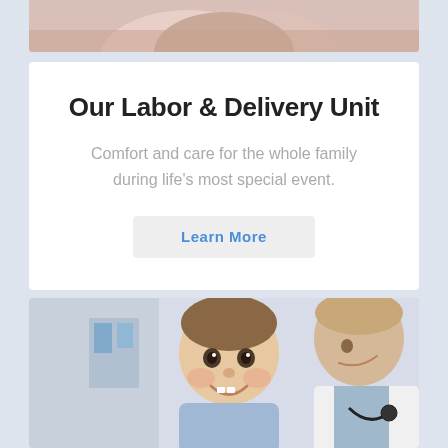[Figure (photo): Cropped photo of hands at top of page (partial view, likely baby hands being held)]
Our Labor & Delivery Unit
Comfort and care for the whole family during life's most special event.
Learn More
[Figure (photo): Photo of a smiling baby being examined by a doctor or healthcare professional]